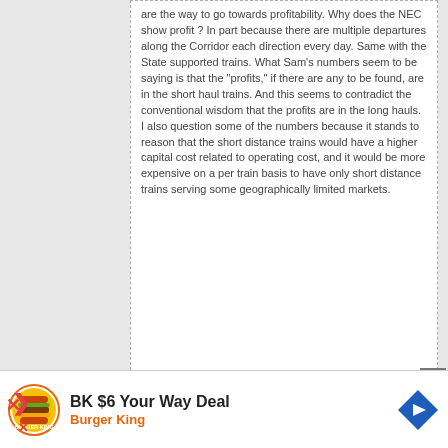are the way to go towards profitability. Why does the NEC show profit ? In part because there are multiple departures along the Corridor each direction every day. Same with the State supported trains. What Sam's numbers seem to be saying is that the "profits," if there are any to be found, are in the short haul trains. And this seems to contradict the conventional wisdom that the profits are in the long hauls. I also question some of the numbers because it stands to reason that the short distance trains would have a higher capital cost related to operating cost, and it would be more expensive on a per train basis to have only short distance trains serving some geographically limited markets.
[Figure (other): Burger King advertisement banner: BK $6 Your Way Deal with Burger King logo and navigation arrow icon]